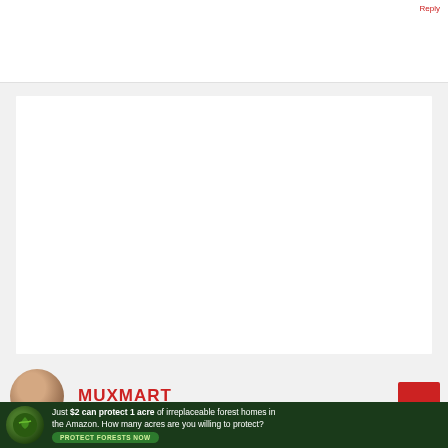[Figure (other): White content card area, largely blank]
MUXMART
[Figure (photo): Avatar photo of a person]
[Figure (infographic): Advertisement banner: Just $2 can protect 1 acre of irreplaceable forest homes in the Amazon. How many acres are you willing to protect? PROTECT FORESTS NOW]